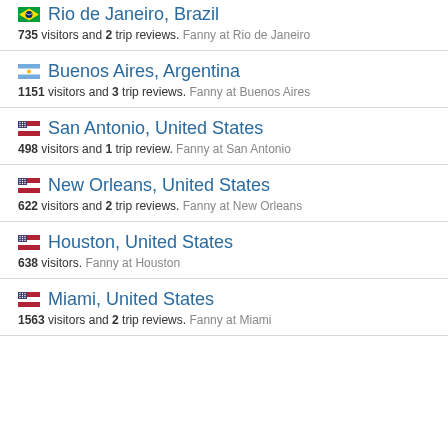Rio de Janeiro, Brazil — 735 visitors and 2 trip reviews. Fanny at Rio de Janeiro
Buenos Aires, Argentina — 1151 visitors and 3 trip reviews. Fanny at Buenos Aires
San Antonio, United States — 498 visitors and 1 trip review. Fanny at San Antonio
New Orleans, United States — 622 visitors and 2 trip reviews. Fanny at New Orleans
Houston, United States — 638 visitors. Fanny at Houston
Miami, United States — 1563 visitors and 2 trip reviews. Fanny at Miami